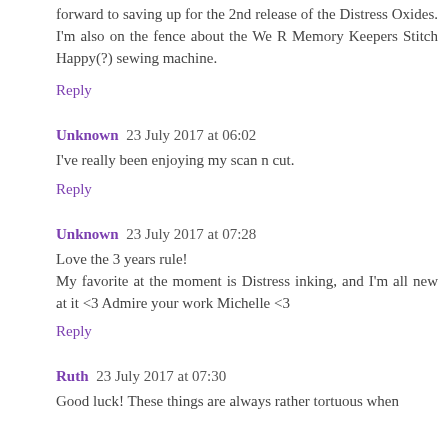forward to saving up for the 2nd release of the Distress Oxides. I'm also on the fence about the We R Memory Keepers Stitch Happy(?) sewing machine.
Reply
Unknown 23 July 2017 at 06:02
I've really been enjoying my scan n cut.
Reply
Unknown 23 July 2017 at 07:28
Love the 3 years rule!
My favorite at the moment is Distress inking, and I'm all new at it <3 Admire your work Michelle <3
Reply
Ruth 23 July 2017 at 07:30
Good luck! These things are always rather tortuous when